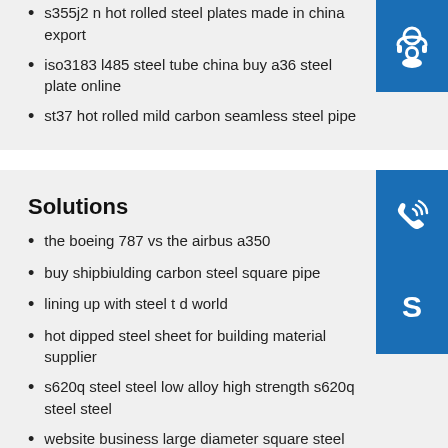s355j2 n hot rolled steel plates made in china export
iso3183 l485 steel tube china buy a36 steel plate online
st37 hot rolled mild carbon seamless steel pipe
[Figure (illustration): Blue square icon with white headset/customer support symbol]
[Figure (illustration): Blue square icon with white phone/call symbol]
[Figure (illustration): Blue square icon with white Skype logo symbol]
Solutions
the boeing 787 vs the airbus a350
buy shipbiulding carbon steel square pipe
lining up with steel t d world
hot dipped steel sheet for building material supplier
s620q steel steel low alloy high strength s620q steel steel
website business large diameter square steel pipes